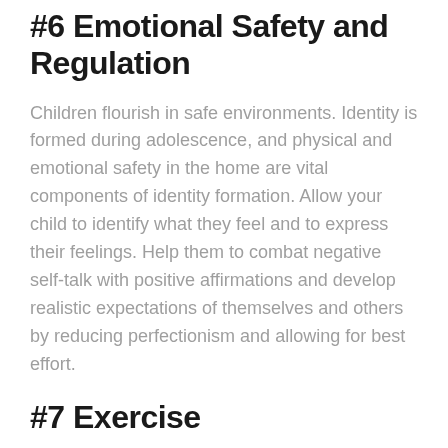#6 Emotional Safety and Regulation
Children flourish in safe environments. Identity is formed during adolescence, and physical and emotional safety in the home are vital components of identity formation. Allow your child to identify what they feel and to express their feelings. Help them to combat negative self-talk with positive affirmations and develop realistic expectations of themselves and others by reducing perfectionism and allowing for best effort.
#7 Exercise
The CDC recommends 60 minutes of